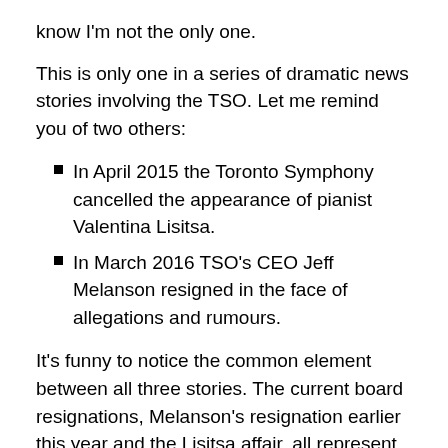know I'm not the only one.
This is only one in a series of dramatic news stories involving the TSO. Let me remind you of two others:
In April 2015 the Toronto Symphony cancelled the appearance of pianist Valentina Lisitsa.
In March 2016 TSO's CEO Jeff Melanson resigned in the face of allegations and rumours.
It's funny to notice the common element between all three stories. The current board resignations, Melanson's resignation earlier this year and the Lisitsa affair, all represent decisions that took place in response to some kind of secret decision making. I could be wrong, but it appears to me that pressure was brought to bear in each case. It's simplistic to suggest that the three are the same,